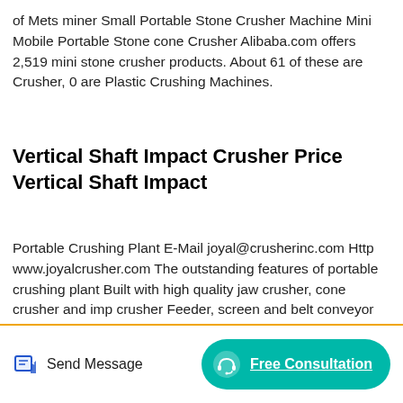of Mets miner Small Portable Stone Crusher Machine Mini Mobile Portable Stone cone Crusher Alibaba.com offers 2,519 mini stone crusher products. About 61 of these are Crusher, 0 are Plastic Crushing Machines.
Vertical Shaft Impact Crusher Price Vertical Shaft Impact
Portable Crushing Plant E-Mail joyal@crusherinc.com Http www.joyalcrusher.com The outstanding features of portable crushing plant Built with high quality jaw crusher, cone crusher and impact crusher Feeder, screen and belt conveyor on board Tractive s shaft.
[Figure (photo): Aerial or distant landscape photo of a hilly/mountainous area covered in green vegetation with roads and structures visible at base]
Send Message
Free Consultation